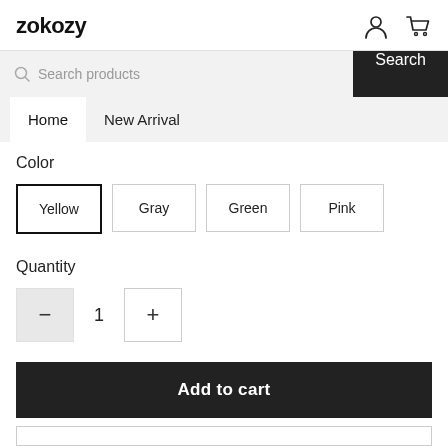zokozy
Search products
Home  New Arrival
Color
Yellow
Gray
Green
Pink
Quantity
1
Add to cart